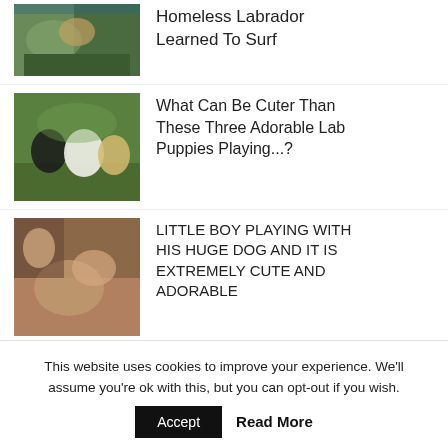Homeless Labrador Learned To Surf
What Can Be Cuter Than These Three Adorable Lab Puppies Playing...?
LITTLE BOY PLAYING WITH HIS HUGE DOG AND IT IS EXTREMELY CUTE AND ADORABLE
Cutest 37 Days Old White Labrador Dog Cute Puppy
This website uses cookies to improve your experience. We'll assume you're ok with this, but you can opt-out if you wish.